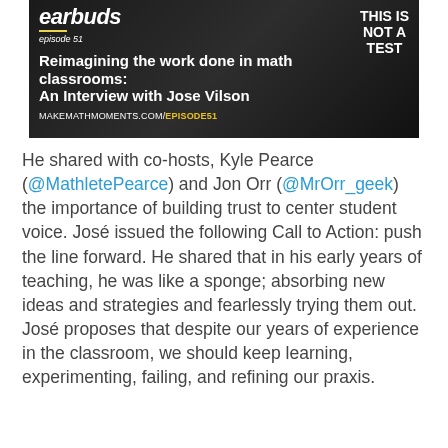[Figure (illustration): Podcast episode cover image for Make Math Moments podcast, episode 51, titled 'Reimagining the work done in math classrooms: An Interview with Jose Vilson'. Shows text 'earbuds', 'THIS IS NOT A TEST', episode number, and the website makemathmoments.com/episode51 against a dark background.]
He shared with co-hosts, Kyle Pearce (@MathletePearce) and Jon Orr (@MrOrr_geek) the importance of building trust to center student voice. José issued the following Call to Action: push the line forward. He shared that in his early years of teaching, he was like a sponge; absorbing new ideas and strategies and fearlessly trying them out. José proposes that despite our years of experience in the classroom, we should keep learning, experimenting, failing, and refining our praxis.